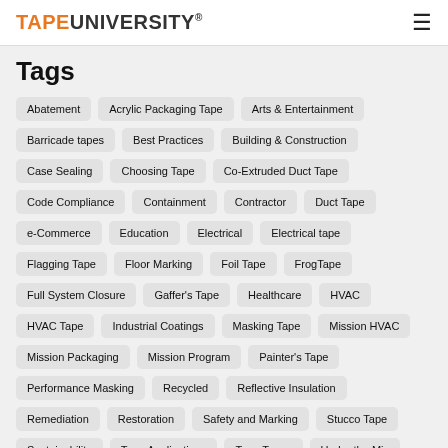TAPEUNIVERSITY®
Tags
Abatement
Acrylic Packaging Tape
Arts & Entertainment
Barricade tapes
Best Practices
Building & Construction
Case Sealing
Choosing Tape
Co-Extruded Duct Tape
Code Compliance
Containment
Contractor
Duct Tape
e-Commerce
Education
Electrical
Electrical tape
Flagging Tape
Floor Marking
Foil Tape
FrogTape
Full System Closure
Gaffer's Tape
Healthcare
HVAC
HVAC Tape
Industrial Coatings
Masking Tape
Mission HVAC
Mission Packaging
Mission Program
Painter's Tape
Performance Masking
Recycled
Reflective Insulation
Remediation
Restoration
Safety and Marking
Stucco Tape
Sustainability
Tape Applications
Tape Types
Under the Mic